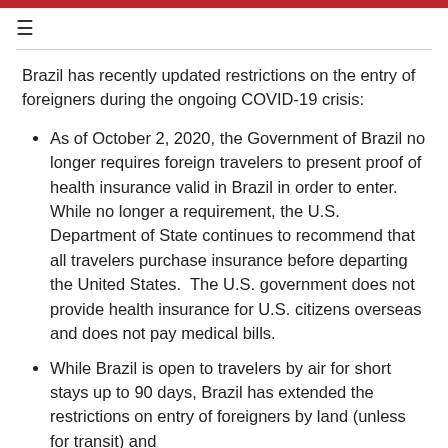≡
Brazil has recently updated restrictions on the entry of foreigners during the ongoing COVID-19 crisis:
As of October 2, 2020, the Government of Brazil no longer requires foreign travelers to present proof of health insurance valid in Brazil in order to enter.  While no longer a requirement, the U.S. Department of State continues to recommend that all travelers purchase insurance before departing the United States.  The U.S. government does not provide health insurance for U.S. citizens overseas and does not pay medical bills.
While Brazil is open to travelers by air for short stays up to 90 days, Brazil has extended the restrictions on entry of foreigners by land (unless for transit) and